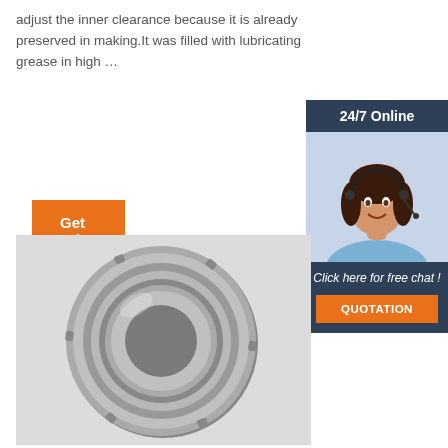adjust the inner clearance because it is already preserved in making.It was filled with lubricating grease in high …
Get Price
[Figure (photo): 24/7 Online customer service representative with headset, with 'Click here for free chat!' and 'QUOTATION' button]
[Figure (photo): Photo of a metallic ball bearing (deep groove ball bearing) viewed from the front, showing inner and outer races]